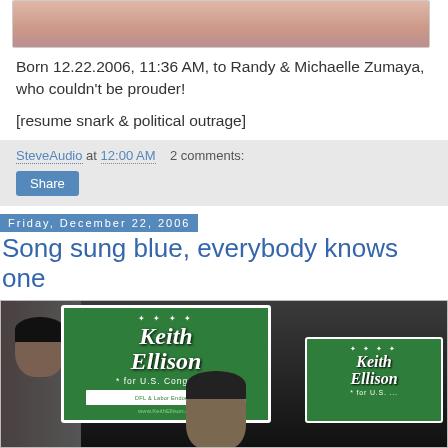[Figure (photo): Partial photo of a baby/person, cropped at top of page]
Born 12.22.2006, 11:36 AM, to Randy & Michaelle Zumaya, who couldn't be prouder!
[resume snark & political outrage]
SteveAudio at 12:00 AM   2 comments:
Share
Friday, December 22, 2006
Song sung blue, everybody knows one
[Figure (photo): Photo of people holding Keith Ellison for U.S. Congress campaign signs (green signs with white text)]